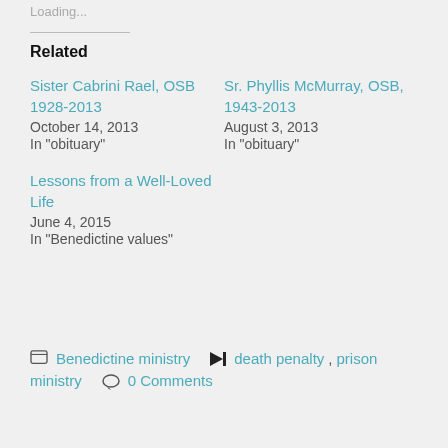Loading...
Related
Sister Cabrini Rael, OSB 1928-2013
October 14, 2013
In "obituary"
Sr. Phyllis McMurray, OSB, 1943-2013
August 3, 2013
In "obituary"
Lessons from a Well-Loved Life
June 4, 2015
In "Benedictine values"
Benedictine ministry  death penalty, prison ministry  0 Comments